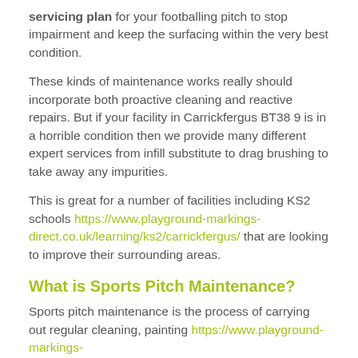servicing plan for your footballing pitch to stop impairment and keep the surfacing within the very best condition.
These kinds of maintenance works really should incorporate both proactive cleaning and reactive repairs. But if your facility in Carrickfergus BT38 9 is in a horrible condition then we provide many different expert services from infill substitute to drag brushing to take away any impurities.
This is great for a number of facilities including KS2 schools https://www.playground-markings-direct.co.uk/learning/ks2/carrickfergus/ that are looking to improve their surrounding areas.
What is Sports Pitch Maintenance?
Sports pitch maintenance is the process of carrying out regular cleaning, painting https://www.playground-markings-direct.co.uk/refurbishment/remarking/carrickfergus/ and other servicing.
It is important to carry out sports pitch maintenance if you want to